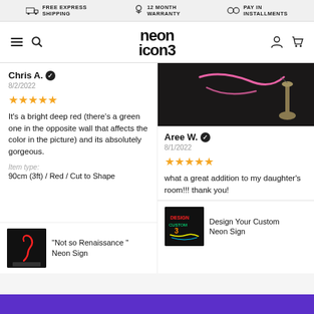FREE EXPRESS SHIPPING | 12 MONTH WARRANTY | PAY IN INSTALLMENTS
[Figure (logo): Neon Icons logo with navigation icons (hamburger, search, user, cart)]
Chris A. ✓
8/2/2022
★★★★★
It's a bright deep red (there's a green one in the opposite wall that affects the color in the picture) and its absolutely gorgeous.
Item type:
90cm (3ft) / Red / Cut to Shape
[Figure (photo): "Not so Renaissance" Neon Sign product thumbnail - red neon seahorse on black base]
"Not so Renaissance " Neon Sign
[Figure (photo): Photo of neon sign mounted on wall - pink neon sign with dark background]
Aree W. ✓
8/1/2022
★★★★★
what a great addition to my daughter's room!!!  thank you!
[Figure (photo): Design Your Custom Neon Sign product thumbnail - colorful custom neon sign]
Design Your Custom Neon Sign